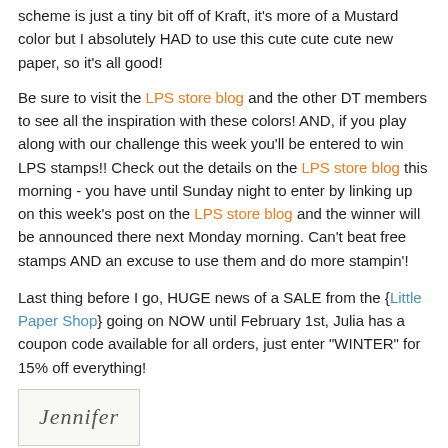scheme is just a tiny bit off of Kraft, it's more of a Mustard color but I absolutely HAD to use this cute cute cute new paper, so it's all good!
Be sure to visit the LPS store blog and the other DT members to see all the inspiration with these colors! AND, if you play along with our challenge this week you'll be entered to win LPS stamps!! Check out the details on the LPS store blog this morning - you have until Sunday night to enter by linking up on this week's post on the LPS store blog and the winner will be announced there next Monday morning. Can't beat free stamps AND an excuse to use them and do more stampin'!
Last thing before I go, HUGE news of a SALE from the {Little Paper Shop} going on NOW until February 1st, Julia has a coupon code available for all orders, just enter "WINTER" for 15% off everything!
[Figure (illustration): Signature image showing cursive 'Jennifer' text in a bordered box]